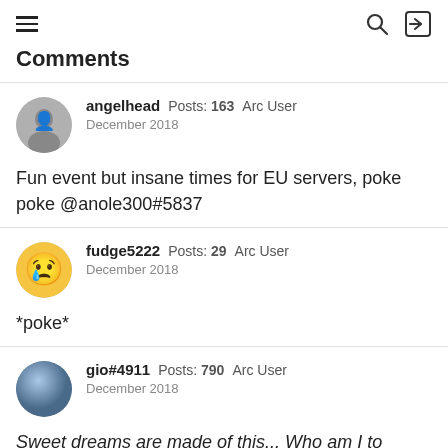Comments
angelhead  Posts: 163  Arc User
December 2018

Fun event but insane times for EU servers, poke poke @anole300#5837
fudge5222  Posts: 29  Arc User
December 2018

*poke*
gio#4911  Posts: 790  Arc User
December 2018

Sweet dreams are made of this... Who am I to disagree?